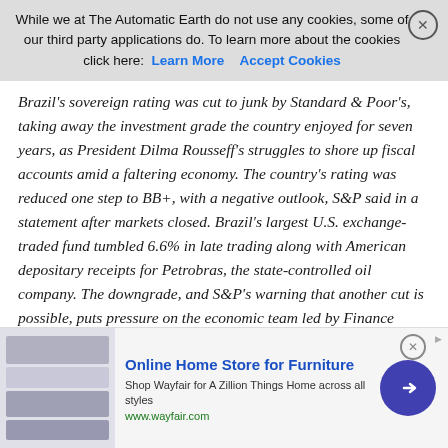While we at The Automatic Earth do not use any cookies, some of our third party applications do. To learn more about the cookies click here: Learn More  Accept Cookies
Brazil's sovereign rating was cut to junk by Standard & Poor's, taking away the investment grade the country enjoyed for seven years, as President Dilma Rousseff's struggles to shore up fiscal accounts amid a faltering economy. The country's rating was reduced one step to BB+, with a negative outlook, S&P said in a statement after markets closed. Brazil's largest U.S. exchange-traded fund tumbled 6.6% in late trading along with American depositary receipts for Petrobras, the state-controlled oil company. The downgrade, and S&P's warning that another cut is possible, puts pressure on the economic team led by Finance Minister Joaquim Levy to win passage of measures that would shore up the country's fiscal situation by cutting spending or raising taxes.
Rousseff has been unable to find support for her initiatives amid an investigation into corruption at the state-controlled oil company that allegedly occurred while she was its chairman, sending her popularity to a record low and generating calls for her impeachment. “The
[Figure (other): Advertisement banner for Wayfair Online Home Store for Furniture with product image on the left and blue arrow button on the right]